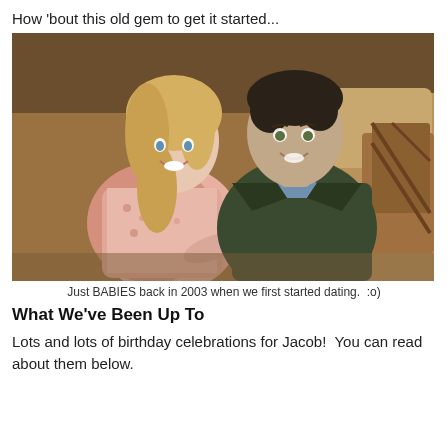How 'bout this old gem to get it started...
[Figure (photo): A young couple sitting together on a couch. A blonde woman wearing a floral pink top leans toward a young man wearing a dark green jacket over a blue shirt. They are both smiling. The setting appears to be a living room with warm brown tones.]
Just BABIES back in 2003 when we first started dating.  :o)
What We've Been Up To
Lots and lots of birthday celebrations for Jacob!  You can read about them below.